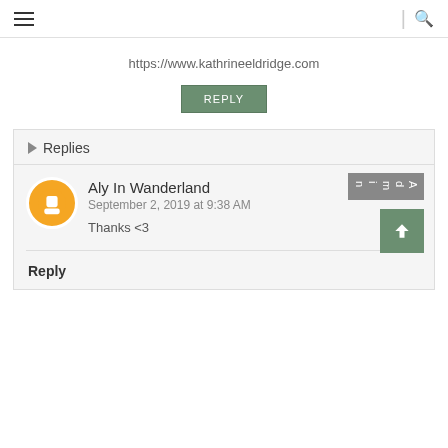≡  |  🔍
https://www.kathrineeldridge.com
REPLY
▸ Replies
Aly In Wanderland
September 2, 2019 at 9:38 AM
Thanks <3
Reply